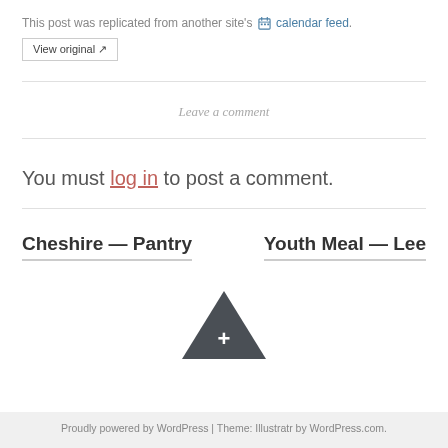This post was replicated from another site's 🗓 calendar feed.
View original ↗
Leave a comment
You must log in to post a comment.
Cheshire — Pantry
Youth Meal — Lee
[Figure (other): Dark grey upward-pointing triangle with a plus sign inside, functioning as a scroll-to-top button]
Proudly powered by WordPress | Theme: Illustratr by WordPress.com.